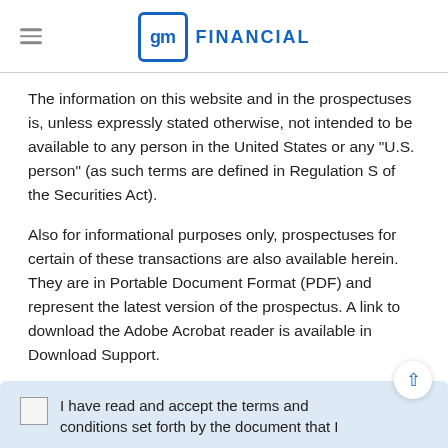gm FINANCIAL
The information on this website and in the prospectuses is, unless expressly stated otherwise, not intended to be available to any person in the United States or any "U.S. person" (as such terms are defined in Regulation S of the Securities Act).
Also for informational purposes only, prospectuses for certain of these transactions are also available herein. They are in Portable Document Format (PDF) and represent the latest version of the prospectus. A link to download the Adobe Acrobat reader is available in Download Support.
I have read and accept the terms and conditions set forth by the document that I